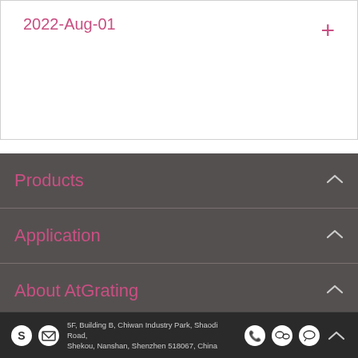2022-Aug-01
Products
Application
About AtGrating
Service
Information
5F, Building B, Chiwan Industry Park, Shaodi Road, Shekou, Nanshan, Shenzhen 518067, China